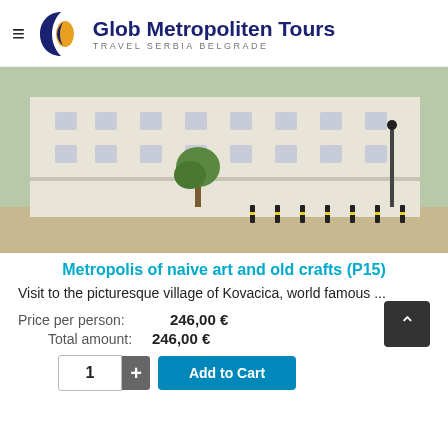Glob Metropoliten Tours — TRAVEL SERBIA BELGRADE
[Figure (photo): Photograph of a large white neoclassical building on a street corner with a tree and bollards in front, in Kovacica, Serbia]
Metropolis of naive art and old crafts (P15)
Visit to the picturesque village of Kovacica, world famous ...
Price per person:  246,00 €
Total amount:  246,00 €